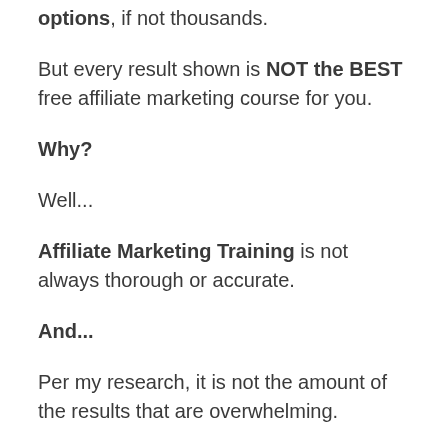options, if not thousands.
But every result shown is NOT the BEST free affiliate marketing course for you.
Why?
Well...
Affiliate Marketing Training is not always thorough or accurate.
And...
Per my research, it is not the amount of the results that are overwhelming.